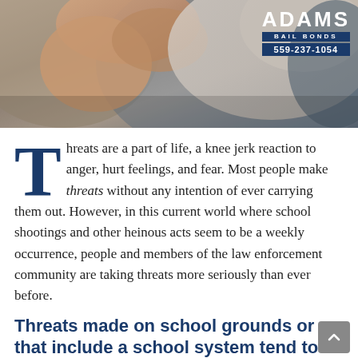[Figure (photo): Close-up photo of two people in a physical confrontation, with an Adams Bail Bonds logo overlay (559-237-1054) in the top right corner.]
Threats are a part of life, a knee jerk reaction to anger, hurt feelings, and fear. Most people make threats without any intention of ever carrying them out. However, in this current world where school shootings and other heinous acts seem to be a weekly occurrence, people and members of the law enforcement community are taking threats more seriously than ever before.
Threats made on school grounds or that include a school system tend to be the first ones that law enforcement crack down on.
In these instances, law enforcement act first and ask questions later. A perfect example of this is a recent situation where a few students had a conversation about their desire to